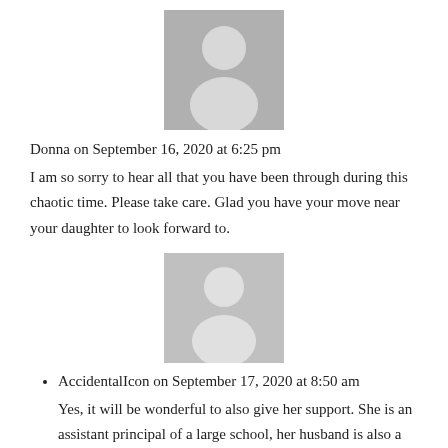[Figure (illustration): Gray placeholder avatar icon (silhouette of a person) centered at the top]
Donna on September 16, 2020 at 6:25 pm
I am so sorry to hear all that you have been through during this chaotic time. Please take care. Glad you have your move near your daughter to look forward to.
[Figure (illustration): Gray placeholder avatar icon (silhouette of a person) centered, second comment]
AccidentalIcon on September 17, 2020 at 8:50 am
Yes, it will be wonderful to also give her support. She is an assistant principal of a large school, her husband is also a teacher and working from home while managing